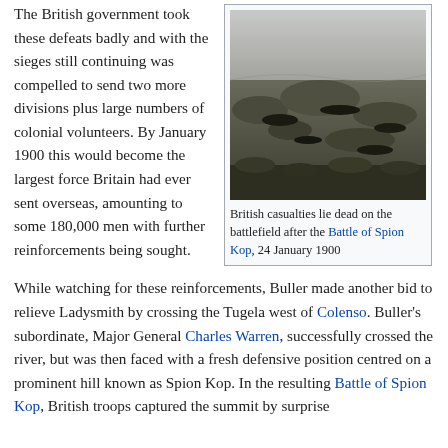The British government took these defeats badly and with the sieges still continuing was compelled to send two more divisions plus large numbers of colonial volunteers. By January 1900 this would become the largest force Britain had ever sent overseas, amounting to some 180,000 men with further reinforcements being sought.
[Figure (photo): Black and white photograph of British casualties lying dead on the battlefield after the Battle of Spion Kop, 24 January 1900]
British casualties lie dead on the battlefield after the Battle of Spion Kop, 24 January 1900
While watching for these reinforcements, Buller made another bid to relieve Ladysmith by crossing the Tugela west of Colenso. Buller's subordinate, Major General Charles Warren, successfully crossed the river, but was then faced with a fresh defensive position centred on a prominent hill known as Spion Kop. In the resulting Battle of Spion Kop, British troops captured the summit by surprise